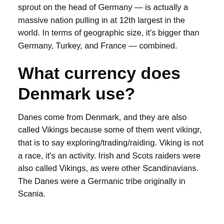sprout on the head of Germany — is actually a massive nation pulling in at 12th largest in the world. In terms of geographic size, it's bigger than Germany, Turkey, and France — combined.
What currency does Denmark use?
Danes come from Denmark, and they are also called Vikings because some of them went vikingr, that is to say exploring/trading/raiding. Viking is not a race, it's an activity. Irish and Scots raiders were also called Vikings, as were other Scandinavians. The Danes were a Germanic tribe originally in Scania.